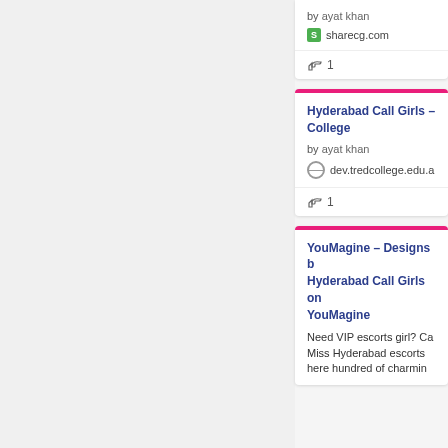by ayat khan
sharecg.com
👍 1
Hyderabad Call Girls – College
by ayat khan
dev.tredcollege.edu.a
👍 1
YouMagine – Designs b Hyderabad Call Girls on YouMagine
Need VIP escorts girl? Ca Miss Hyderabad escorts here hundred of charmin